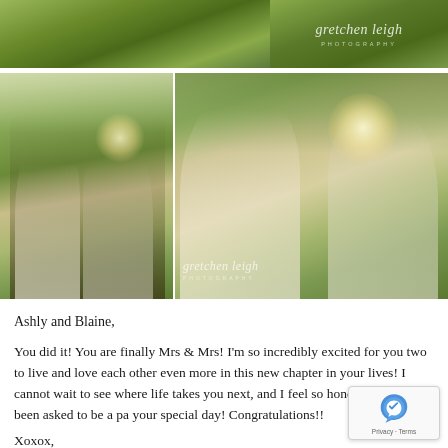[Figure (photo): Top banner strip with grass/green background and 'gretchen leigh photography' logo watermark on right side]
[Figure (photo): Two wedding photos side by side: left photo shows couple kissing outdoors in golden sunlight on grass, right photo shows bride and groom in close embrace with sunburst, with 'gretchen leigh photography' watermark]
Ashly and Blaine,
You did it! You are finally Mrs & Mrs! I'm so incredibly excited for you two to live and love each other even more in this new chapter in your lives! I cannot wait to see where life takes you next, and I feel so honored to have been asked to be a pa your special day! Congratulations!!
Xoxox,